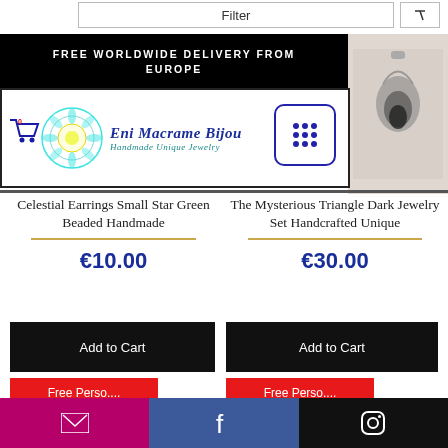Filter
FREE WORLDWIDE DELIVERY FROM EUROPE
[Figure (logo): Eni Macrame Bijou – Handmade Unique Jewelry logo with mandala design]
Celestial Earrings Small Star Green Beaded Handmade
€10.00
The Mysterious Triangle Dark Jewelry Set Handcrafted Unique
€30.00
Add to Cart
Add to Cart
Free Perso....
Free Perso....